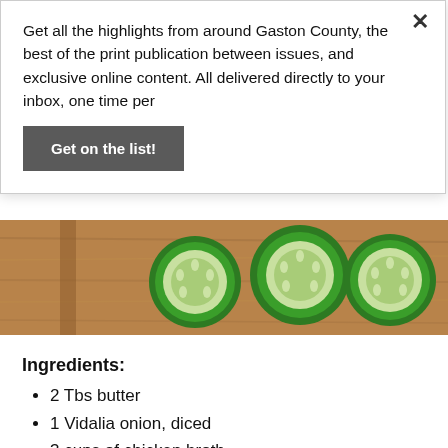Get all the highlights from around Gaston County, the best of the print publication between issues, and exclusive online content. All delivered directly to your inbox, one time per
Get on the list!
[Figure (photo): Sliced cucumbers on a wooden cutting board]
Ingredients:
2 Tbs butter
1 Vidalia onion, diced
3 cups of chicken broth
1 small white potato, peeled and diced
3 cucumbers, seeded, diced but not peeled
1 cup of Greek yogurt
3 Tbs Basil, chopped